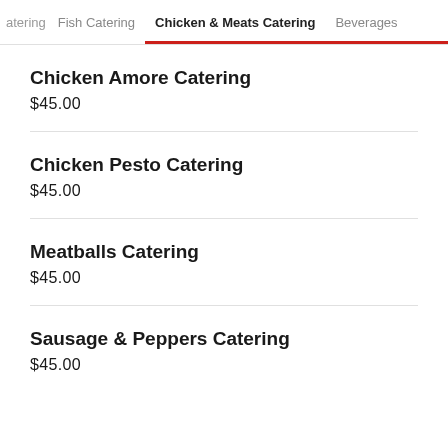atering | Fish Catering | Chicken & Meats Catering | Beverages
Chicken Amore Catering
$45.00
Chicken Pesto Catering
$45.00
Meatballs Catering
$45.00
Sausage & Peppers Catering
$45.00